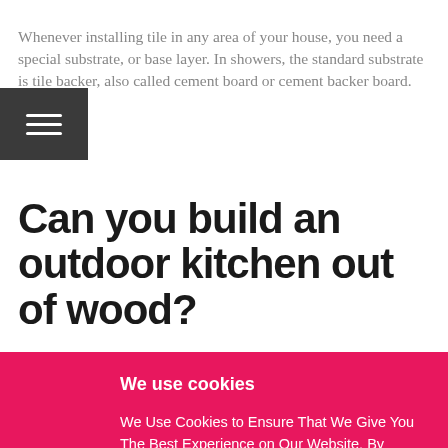Whenever installing tile in any area of your house, you need a special substrate, or base layer. In showers, the standard substrate is tile backer, also called cement board or cement backer board.
Can you build an outdoor kitchen out of wood?
We use cookies
We Use Cookies to Ensure That We Give You The Best Experience on Our Website. By Using The Website You Agree to Our Use of Cookies.
ALLOW COOKIES.